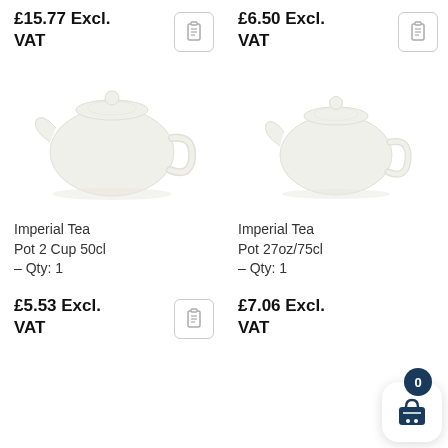£15.77 Excl. VAT
£6.50 Excl. VAT
[Figure (photo): White ceramic Imperial Tea Pot, round shape with lid and handle, left product]
[Figure (photo): White ceramic Imperial Tea Pot, round shape with lid and handle, right product]
Imperial Tea Pot 2 Cup 50cl – Qty: 1
Imperial Tea Pot 27oz/75cl – Qty: 1
£5.53 Excl. VAT
£7.06 Excl. VAT